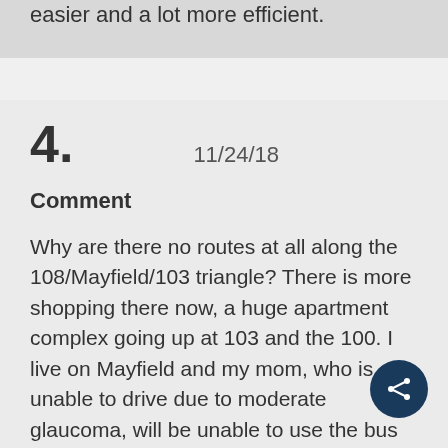easier and a lot more efficient.
4.   11/24/18
Comment
Why are there no routes at all along the 108/Mayfield/103 triangle? There is more shopping there now, a huge apartment complex going up at 103 and the 100. I live on Mayfield and my mom, who is unable to drive due to moderate glaucoma, will be unable to use the bus services for the safest trip to our home, when she moves here in